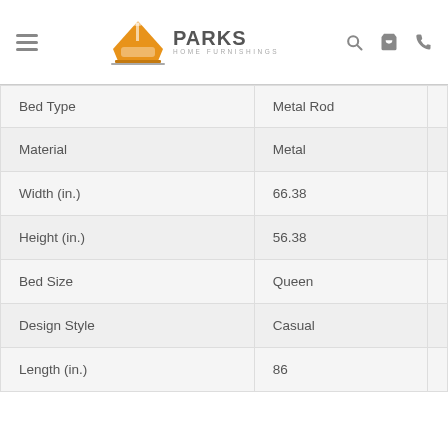[Figure (logo): Parks Home Furnishings logo with orange sofa/lamp icon and brand name]
| Bed Type | Metal Rod |
| Material | Metal |
| Width (in.) | 66.38 |
| Height (in.) | 56.38 |
| Bed Size | Queen |
| Design Style | Casual |
| Length (in.) | 86 |